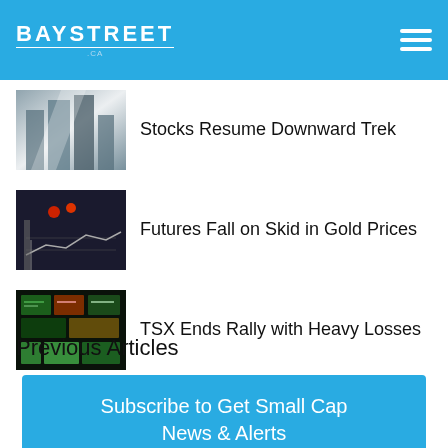BAYSTREET .CA
Stocks Resume Downward Trek
Futures Fall on Skid in Gold Prices
TSX Ends Rally with Heavy Losses
Previous Articles
Subscribe to Get Small Cap News & Alerts
Email Address